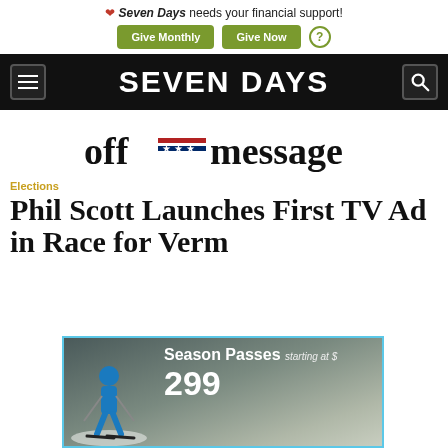❤ Seven Days needs your financial support! [Give Monthly] [Give Now] (?)
SEVEN DAYS
[Figure (logo): off=message logo with stars and stripes motif]
Elections
Phil Scott Launches First TV Ad in Race for Vermont Governor
[Figure (photo): Season Passes starting at $299 ski advertisement with skier on snowy slope]